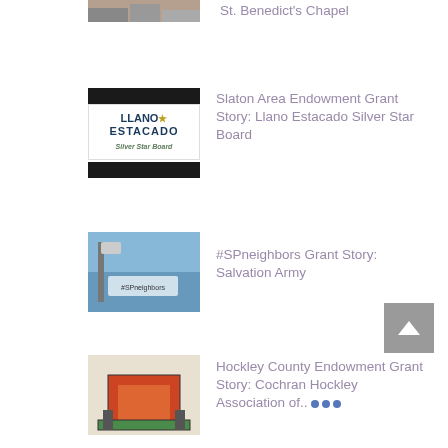[Figure (photo): Partial thumbnail of St. Benedict's Chapel at top of page]
St. Benedict's Chapel
[Figure (logo): Llano Estacado Silver Star Board logo with black bars above and below]
Slaton Area Endowment Grant Story: Llano Estacado Silver Star Board
[Figure (photo): #SPneighbors grant story photo showing windmill and signage]
#SPneighbors Grant Story: Salvation Army
[Figure (photo): Hockley County photo showing a small painted wooden structure]
Hockley County Endowment Grant Story: Cochran Hockley Association of... •••